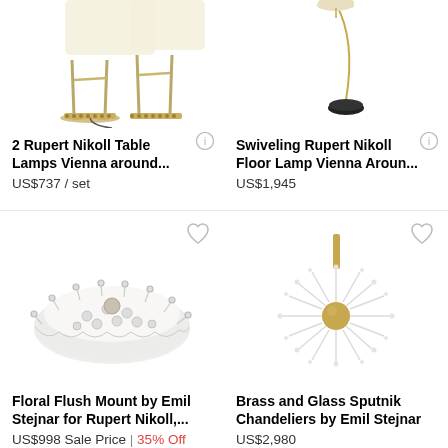[Figure (photo): Two Rupert Nikoll table lamps with brass bases, Vienna, partial view cropped at top]
2 Rupert Nikoll Table Lamps Vienna around...
US$737 / set
[Figure (photo): Swiveling Rupert Nikoll floor lamp with gold arc and black base, Vienna, partial view cropped at top]
Swiveling Rupert Nikoll Floor Lamp Vienna Aroun...
US$1,945
[Figure (photo): Floral flush mount ceiling light by Emil Stejnar for Rupert Nikoll, white dome with decorative studs and crown-like edge]
Floral Flush Mount by Emil Stejnar for Rupert Nikoll,...
US$998 Sale Price | 35% Off
[Figure (photo): Brass and glass Sputnik chandelier by Emil Stejnar, spherical form with radiating glass rods]
Brass and Glass Sputnik Chandeliers by Emil Stejnar
US$2,980